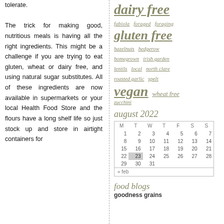tolerate.

The trick for making good, nutritious meals is having all the right ingredients. This might be a challenge if you are trying to eat gluten, wheat or dairy free, and using natural sugar substitutes. All of these ingredients are now available in supermarkets or your local Health Food Store and the flours have a long shelf life so just stock up and store in airtight containers for
dairy free
fabiola foraged foraging
gluten free
hazelnuts hedgerow
homegrown irish garden
lentils local north clare
roasted garlic spelt
vegan wheat free zucchini
august 2022
| M | T | W | T | F | S | S |
| --- | --- | --- | --- | --- | --- | --- |
| 1 | 2 | 3 | 4 | 5 | 6 | 7 |
| 8 | 9 | 10 | 11 | 12 | 13 | 14 |
| 15 | 16 | 17 | 18 | 19 | 20 | 21 |
| 22 | 23 | 24 | 25 | 26 | 27 | 28 |
| 29 | 30 | 31 |  |  |  |  |
« feb
food blogs
goodness grains